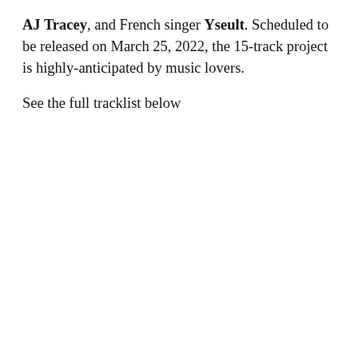AJ Tracey, and French singer Yseult. Scheduled to be released on March 25, 2022, the 15-track project is highly-anticipated by music lovers.
See the full tracklist below